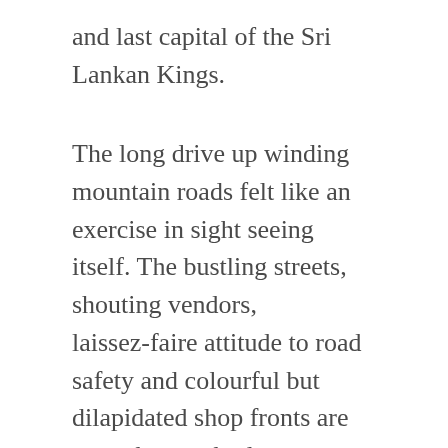and last capital of the Sri Lankan Kings.
The long drive up winding mountain roads felt like an exercise in sight seeing itself. The bustling streets, shouting vendors, laissez-faire attitude to road safety and colourful but dilapidated shop fronts are enough to enthral anyone used to the relative blandness of the UK. What’s so different about it is the sheer swell of humanity every town centre seems to hold. The huge number of people simply going about their daily lives makes the roads of London seem comparatively empty; a